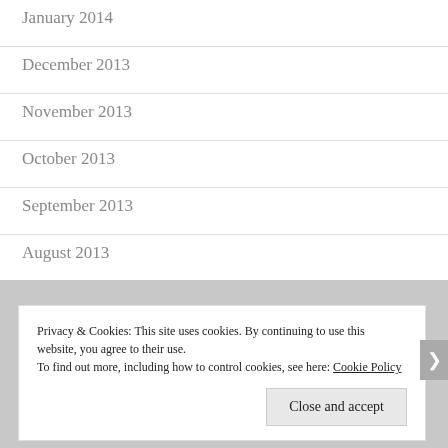January 2014
December 2013
November 2013
October 2013
September 2013
August 2013
Privacy & Cookies: This site uses cookies. By continuing to use this website, you agree to their use.
To find out more, including how to control cookies, see here: Cookie Policy
Close and accept